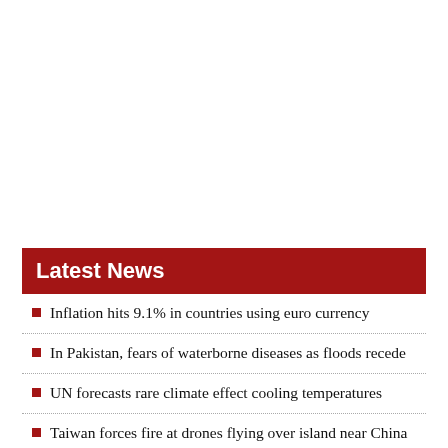Latest News
Inflation hits 9.1% in countries using euro currency
In Pakistan, fears of waterborne diseases as floods recede
UN forecasts rare climate effect cooling temperatures
Taiwan forces fire at drones flying over island near China
Venice film fest launches with Netflix's Adam Driver flick 'White Noise'